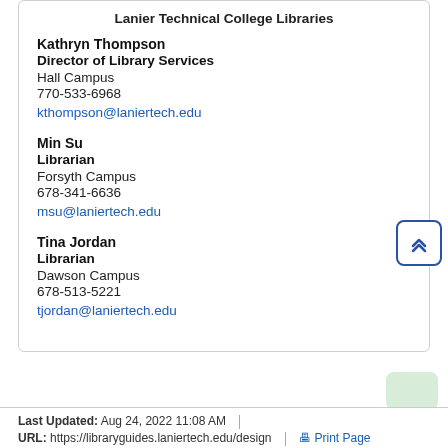Lanier Technical College Libraries
Kathryn Thompson
Director of Library Services
Hall Campus
770-533-6968
kthompson@laniertech.edu
Min Su
Librarian
Forsyth Campus
678-341-6636
msu@laniertech.edu
Tina Jordan
Librarian
Dawson Campus
678-513-5221
tjordan@laniertech.edu
Last Updated: Aug 24, 2022 11:08 AM | URL: https://libraryguides.laniertech.edu/design | Print Page